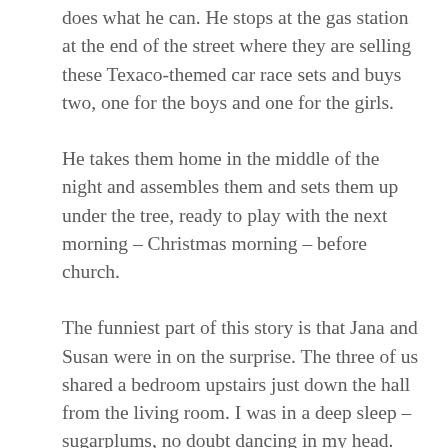does what he can. He stops at the gas station at the end of the street where they are selling these Texaco-themed car race sets and buys two, one for the boys and one for the girls.
He takes them home in the middle of the night and assembles them and sets them up under the tree, ready to play with the next morning – Christmas morning – before church.
The funniest part of this story is that Jana and Susan were in on the surprise. The three of us shared a bedroom upstairs just down the hall from the living room. I was in a deep sleep – sugarplums, no doubt dancing in my head. Jana and Susan heard something, however. Thinking it was elves they crept down the hall to discover Daddy putting